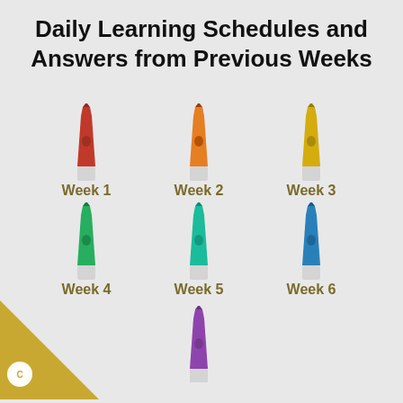Daily Learning Schedules and Answers from Previous Weeks
[Figure (illustration): Seven colored crayons arranged in a 3-3-1 grid, each labeled Week 1 through Week 7. Week 1: red crayon, Week 2: orange crayon, Week 3: yellow crayon, Week 4: green crayon, Week 5: cyan/teal crayon, Week 6: blue crayon, Week 7: purple crayon.]
[Figure (logo): Gold triangle in bottom-left corner with a white sunburst/asterisk badge icon labeled C]